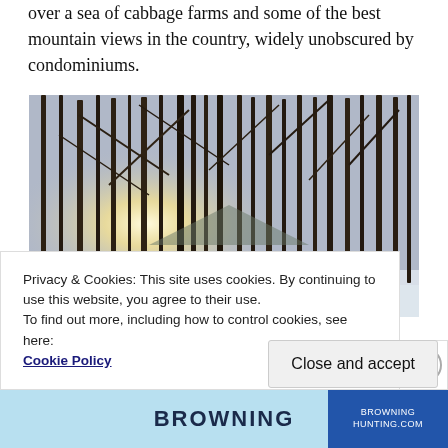over a sea of cabbage farms and some of the best mountain views in the country, widely unobscured by condominiums.
[Figure (photo): Winter forest scene with bare trees, sunlight streaming through, snow on the ground, and two or three people walking among the trees.]
Privacy & Cookies: This site uses cookies. By continuing to use this website, you agree to their use.
To find out more, including how to control cookies, see here:
Cookie Policy
Close and accept